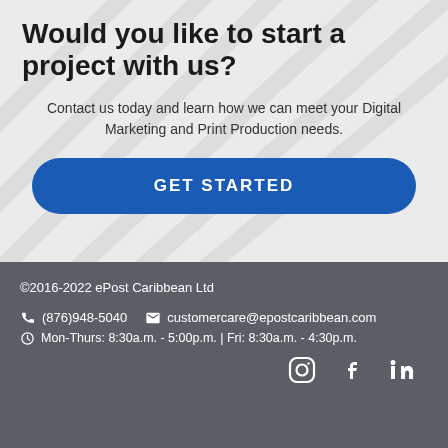Would you like to start a project with us?
Contact us today and learn how we can meet your Digital Marketing and Print Production needs.
GET STARTED
©2016-2022 ePost Caribbean Ltd
(876)948-5040   customercare@epostcaribbean.com
Mon-Thurs: 8:30a.m. - 5:00p.m. | Fri: 8:30a.m. - 4:30p.m.
[Figure (illustration): Social media icons: Instagram, Facebook, LinkedIn]